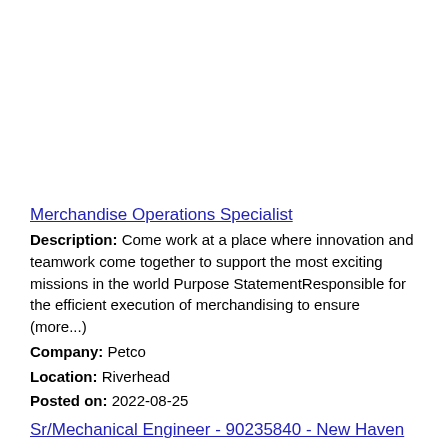Merchandise Operations Specialist
Description: Come work at a place where innovation and teamwork come together to support the most exciting missions in the world Purpose StatementResponsible for the efficient execution of merchandising to ensure (more...)
Company: Petco
Location: Riverhead
Posted on: 2022-08-25
Sr/Mechanical Engineer - 90235840 - New Haven